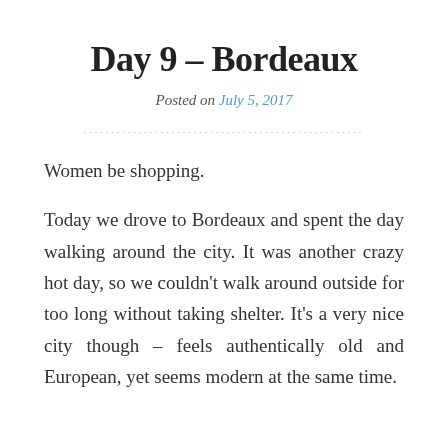Day 9 – Bordeaux
Posted on July 5, 2017
Women be shopping.
Today we drove to Bordeaux and spent the day walking around the city. It was another crazy hot day, so we couldn't walk around outside for too long without taking shelter. It's a very nice city though – feels authentically old and European, yet seems modern at the same time.